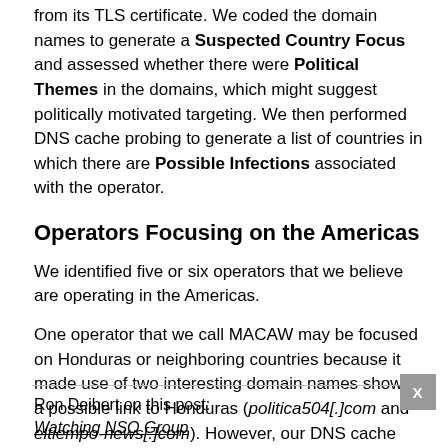from its TLS certificate. We coded the domain names to generate a Suspected Country Focus and assessed whether there were Political Themes in the domains, which might suggest politically motivated targeting. We then performed DNS cache probing to generate a list of countries in which there are Possible Infections associated with the operator.
Operators Focusing on the Americas
We identified five or six operators that we believe are operating in the Americas.
One operator that we call MACAW may be focused on Honduras or neighboring countries because it made use of two interesting domain names showing a possible link to Honduras (politica504[.]com and eltiempo-news[.]com). However, our DNS cache probing technique did not identify
Ron Deibert on this post:
Watching NSO Group